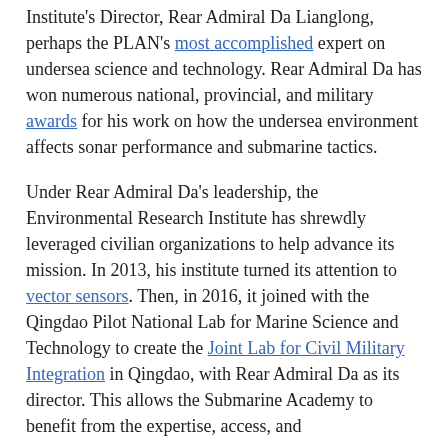Institute's Director, Rear Admiral Da Lianglong, perhaps the PLAN's most accomplished expert on undersea science and technology. Rear Admiral Da has won numerous national, provincial, and military awards for his work on how the undersea environment affects sonar performance and submarine tactics.
Under Rear Admiral Da's leadership, the Environmental Research Institute has shrewdly leveraged civilian organizations to help advance its mission. In 2013, his institute turned its attention to vector sensors. Then, in 2016, it joined with the Qingdao Pilot National Lab for Marine Science and Technology to create the Joint Lab for Civil Military Integration in Qingdao, with Rear Admiral Da as its director. This allows the Submarine Academy to benefit from the expertise, access, and